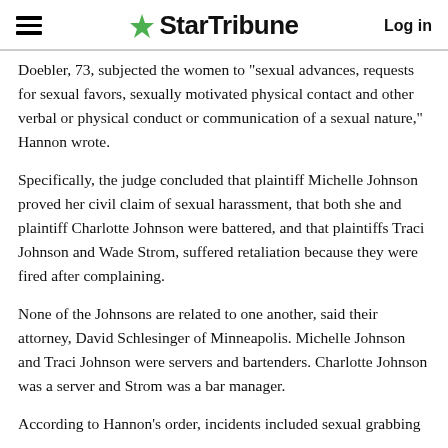StarTribune  Log in
Doebler, 73, subjected the women to "sexual advances, requests for sexual favors, sexually motivated physical contact and other verbal or physical conduct or communication of a sexual nature," Hannon wrote.
Specifically, the judge concluded that plaintiff Michelle Johnson proved her civil claim of sexual harassment, that both she and plaintiff Charlotte Johnson were battered, and that plaintiffs Traci Johnson and Wade Strom, suffered retaliation because they were fired after complaining.
None of the Johnsons are related to one another, said their attorney, David Schlesinger of Minneapolis. Michelle Johnson and Traci Johnson were servers and bartenders. Charlotte Johnson was a server and Strom was a bar manager.
According to Hannon's order, incidents included sexual grabbing